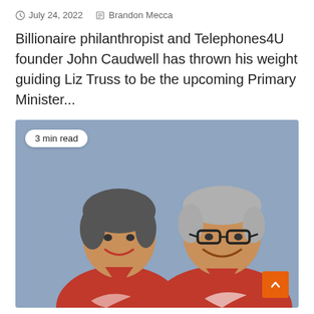July 24, 2022   Brandon Mecca
Billionaire philanthropist and Telephones4U founder John Caudwell has thrown his weight guiding Liz Truss to be the upcoming Primary Minister...
[Figure (photo): Two elderly people smiling, wearing red shirts with a logo, standing against a blue-grey wall background. A '3 min read' badge is overlaid in the top-left. An orange scroll-to-top button is in the bottom-right corner.]